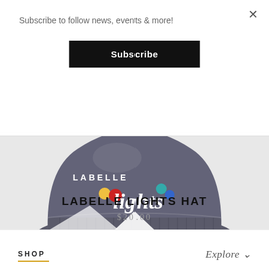Subscribe to follow news, events & more!
Subscribe
×
[Figure (photo): A grey knit beanie hat with embroidered 'LABELLE lights' text and colorful light bulb dots on the cuff]
LABELLE LIGHTS HAT
$20.00
·
SHOP
Explore ∨